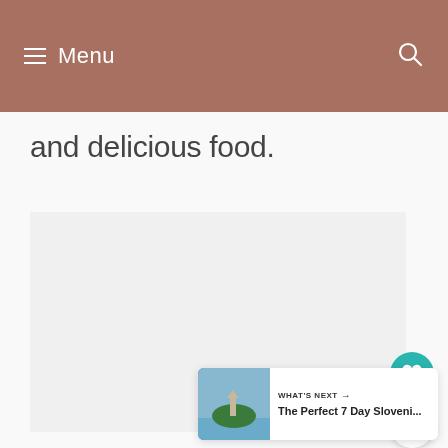Menu
and delicious food.
[Figure (photo): Large photo placeholder area, light gray background]
WHAT'S NEXT → The Perfect 7 Day Sloveni...